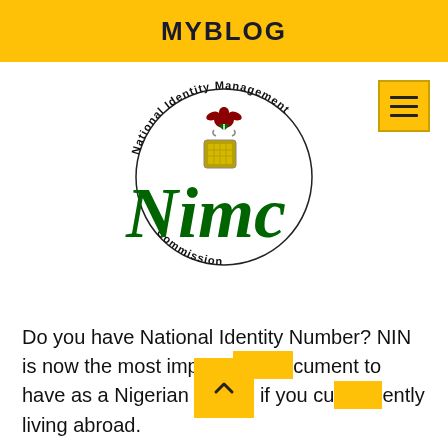MYBLOG
[Figure (logo): NIMC (National Identity Management Commission) logo — circular text reading 'National Identity Management Commission' around a Nigerian coat of arms emblem, with large green italic 'Nimc' lettering and a chip icon]
Do you have National Identity Number? NIN is now the most important document to have as a Nigerian – even if you currently living abroad.